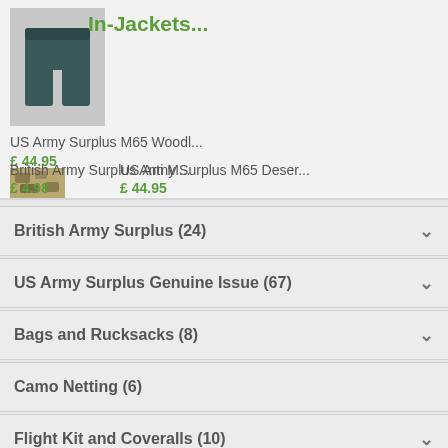[Figure (photo): Product image of dark green/teal compression shorts on a white background, overlaid with text 'In-Jackets...']
In-Jackets...
US Army Surplus M65 Woodl...
£ 44.95
British Army Surplus Anti M...
£ 4.98
US Army Surplus M65 Deser...
£ 44.95
British Army Surplus (24)
US Army Surplus Genuine Issue (67)
Bags and Rucksacks (8)
Camo Netting (6)
Flight Kit and Coveralls (10)
Footwear (1)